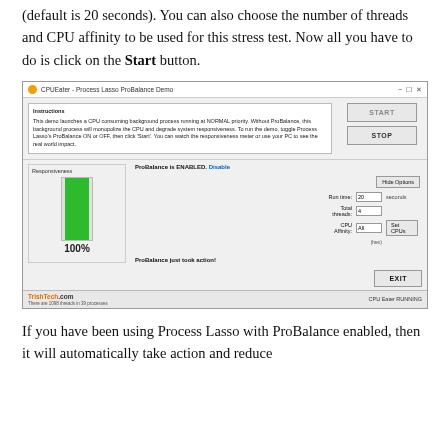(default is 20 seconds). You can also choose the number of threads and CPU affinity to be used for this stress test. Now all you have to do is click on the Start button.
[Figure (screenshot): CPUEater - Process Lasso ProBalance Demo window showing instructions, START and STOP buttons, responsiveness bar at 100%, ProBalance is ENABLED with Disable link, options for Run time (20 seconds), Total threads (4), CPU Affinity (All hex), Set CPUs button, ProBalance just took action message, EXIT button, and status bar showing TrishTech.com watermark and CPU Eater RUNNING]
If you have been using Process Lasso with ProBalance enabled, then it will automatically take action and reduce